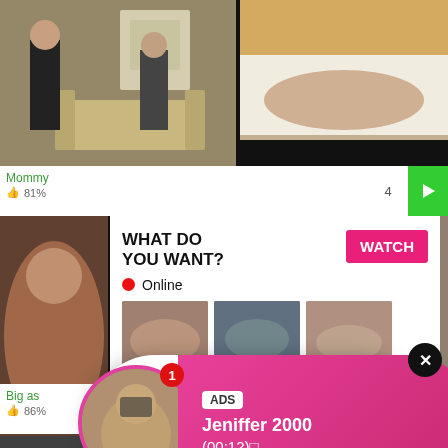[Figure (screenshot): Adult video thumbnail top-left: two people in a living room]
[Figure (screenshot): Adult video thumbnail top-right: bedroom scene]
Mommy
81%
4
[Figure (screenshot): Adult video thumbnail mid-left]
[Figure (screenshot): Adult video thumbnail mid-right]
[Figure (infographic): Popup notification: ADS - Jeniffer 2000 (00:12) with LIVE avatar and close button]
[Figure (screenshot): Large adult video thumbnail bottom-left]
[Figure (infographic): What Do You Want? popup with WATCH button, Online indicator, thumbnail grid, text: Cumming, ass fucking, squirt or... ADS]
Big as
86%
[Figure (screenshot): Bottom row video thumbnails]